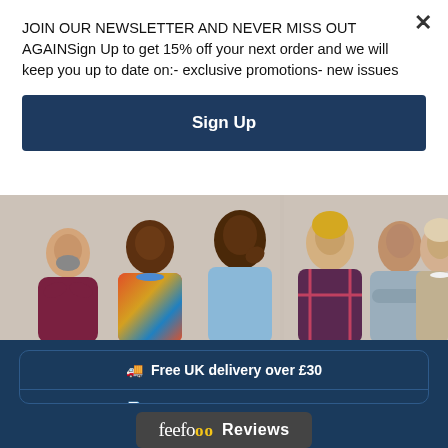JOIN OUR NEWSLETTER AND NEVER MISS OUT AGAINSign Up to get 15% off your next order and we will keep you up to date on:- exclusive promotions- new issues
Sign Up
[Figure (photo): Group of five diverse middle-aged adults smiling, standing together against a light background.]
🚚 Free UK delivery over £30
📄 Free prescription delivery
★ Feefo GOLD Trusted Merchant
feefo Reviews